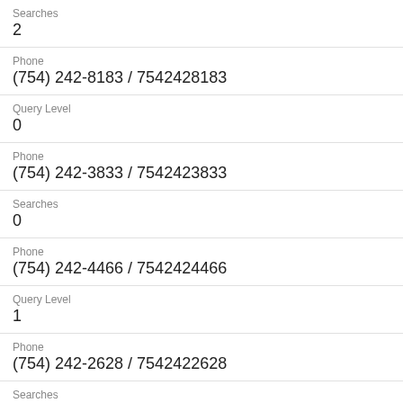Searches
2
Phone
(754) 242-8183 / 7542428183
Query Level
0
Phone
(754) 242-3833 / 7542423833
Searches
0
Phone
(754) 242-4466 / 7542424466
Query Level
1
Phone
(754) 242-2628 / 7542422628
Searches
0